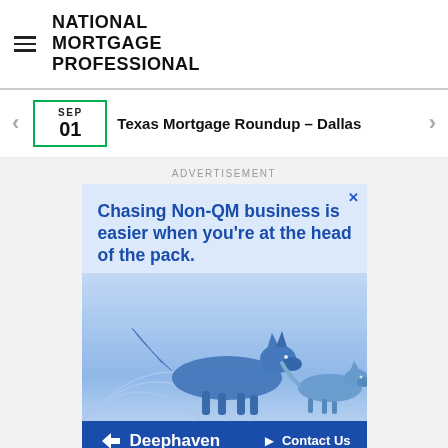NATIONAL MORTGAGE PROFESSIONAL
SEP 01 · Texas Mortgage Roundup – Dallas
ADVERTISEMENT
[Figure (illustration): Deephaven advertisement: 'Chasing Non-QM business is easier when you're at the head of the pack.' with blue wolf imagery and Deephaven Contact Us CTA footer.]